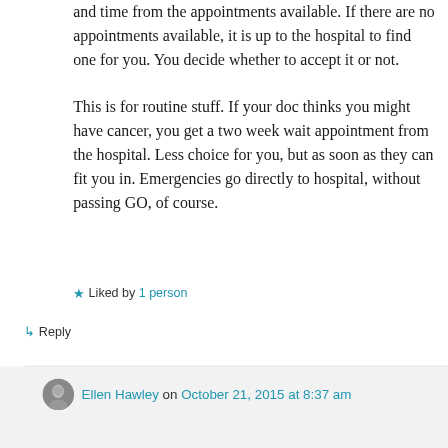and time from the appointments available. If there are no appointments available, it is up to the hospital to find one for you. You decide whether to accept it or not.
This is for routine stuff. If your doc thinks you might have cancer, you get a two week wait appointment from the hospital. Less choice for you, but as soon as they can fit you in. Emergencies go directly to hospital, without passing GO, of course.
★ Liked by 1 person
↳ Reply
Ellen Hawley on October 21, 2015 at 8:37 am